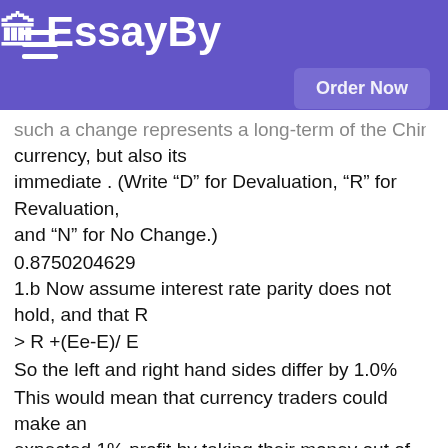EssayBy
such a change represents a long-term of the Chinese currency, but also its immediate . (Write “D” for Devaluation, “R” for Revaluation, and “N” for No Change.)
0.8750204629
1.b Now assume interest rate parity does not hold, and that R > R +(Ee-E)/ E
So the left and right hand sides differ by 1.0%
This would mean that currency traders could make an expected 1% profit by taking their money out of and lending to borrowers in .This currency trading also (“Y” for Yuan, “D” for Dollars) (“Y” for Yuan, “D” for Dollars) the curent exchange rate, E ,and thus the Yuan relative to Dollar.
(Write “I” for Increases, “D” for Decreases.) (Write “D” for Devaluing “R”, for Revaluing.)